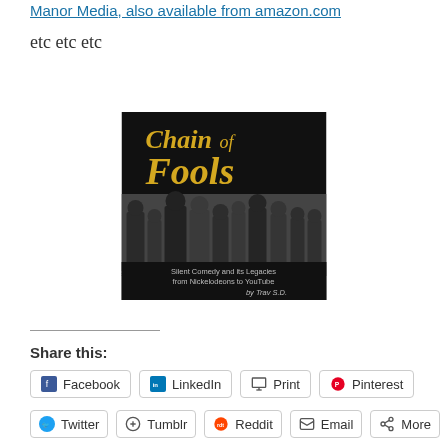Manor Media, also available from amazon.com
etc etc etc
[Figure (photo): Book cover of 'Chain of Fools: Silent Comedy and its Legacies from Nickelodeons to YouTube by Trav S.D.' with black background, gold serif title text, and a black-and-white photo of silent comedy actors in a street scene.]
Share this:
Facebook  LinkedIn  Print  Pinterest
Twitter  Tumblr  Reddit  Email  More